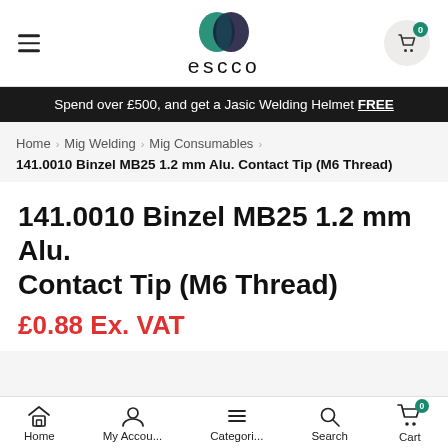escco
Spend over £500, and get a Jasic Welding Helmet FREE
Home > Mig Welding > Mig Consumables >
141.0010 Binzel MB25 1.2 mm Alu. Contact Tip (M6 Thread)
141.0010 Binzel MB25 1.2 mm Alu. Contact Tip (M6 Thread)
£0.88 Ex. VAT
Home  My Accou...  Categori...  Search  Cart